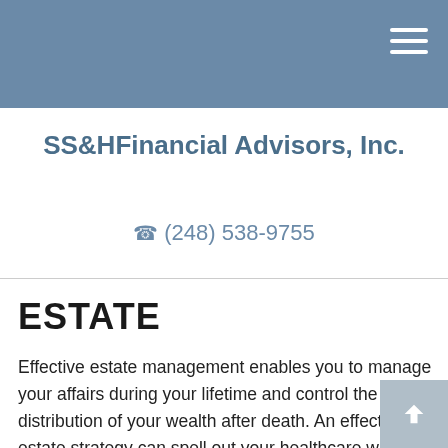SS&HFinancial Advisors, Inc. — navigation header
SS&HFinancial Advisors, Inc.
(248) 538-9755
ESTATE
Effective estate management enables you to manage your affairs during your lifetime and control the distribution of your wealth after death. An effective estate strategy can spell out your healthcare wishes and ensure that they're carried out – even if you are unable to communicate. It can also help to ensure your own financial affairs